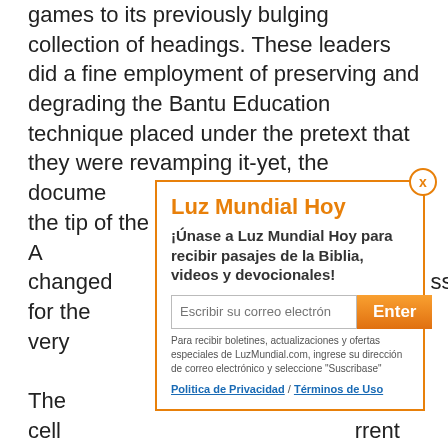games to its previously bulging collection of headings. These leaders did a fine employment of preserving and degrading the Bantu Education technique placed under the pretext that they were revamping it-yet, the documents g the tip of the A en changed ss for the very
[Figure (other): Modal popup dialog for Luz Mundial Hoy newsletter signup with email input, Enter button, and privacy policy links]
The cell rrent technolo y the game o tainly did itsel superbly ssion in favour of hosting the global entire world Drink is at most desirable delusional. Yes !, it's probable for have fun with for true cash in all the cell phone casinos recommended inside our toplist. Inside most instances, it may end up